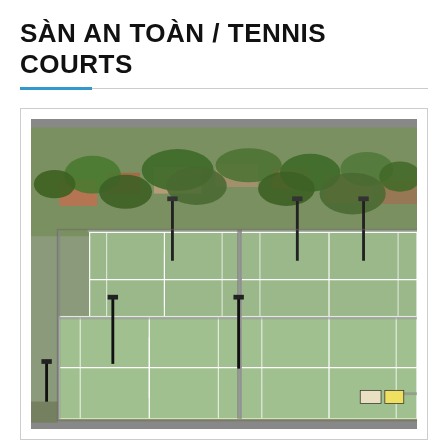SÀN AN TOÀN / TENNIS COURTS
[Figure (photo): Aerial view of outdoor tennis courts with green surfaces, surrounded by chain-link fencing and light poles, with suburban houses and trees visible in the background.]